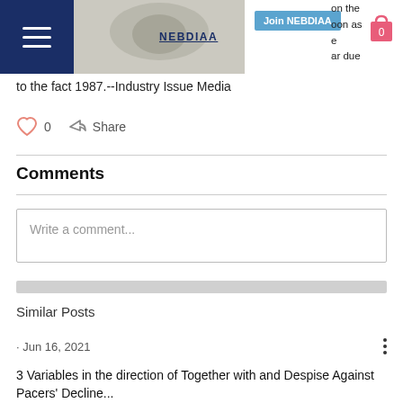[Figure (screenshot): NEBDIAA website navigation bar with hamburger menu, logo, Join NEBDIAA button, shopping bag icon, partial article image and partial text visible at top]
on the oon as e ar due to the fact 1987.--Industry Issue Media
0
Share
Comments
Write a comment...
Similar Posts
· Jun 16, 2021
3 Variables in the direction of Together with and Despise Against Pacers' Decline...